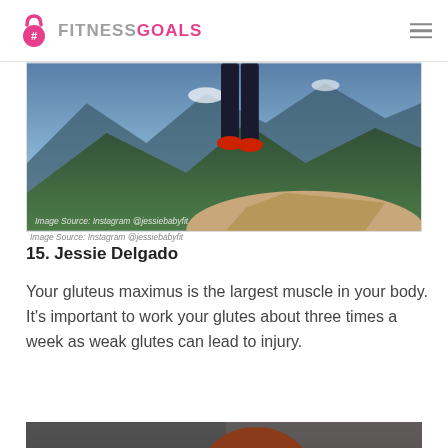#FITNESSGOALS
[Figure (photo): Person standing on a mountain peak in black leggings and red sneakers, with a dramatic mountain landscape in the background. Caption reads: Image Source: Instagram @jessiebabyfit]
Image Source: Instagram @jessiebabyfit
15. Jessie Delgado
Your gluteus maximus is the largest muscle in your body. It's important to work your glutes about three times a week as weak glutes can lead to injury.
[Figure (photo): Partial view of a person with auburn/red hair, cropped at the top edge of the page.]